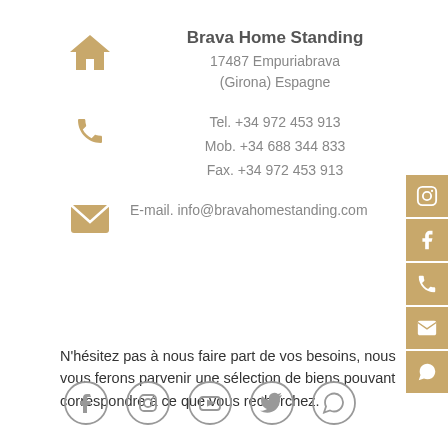Brava Home Standing
17487 Empuriabrava
(Girona) Espagne
Tel. +34 972 453 913
Mob. +34 688 344 833
Fax. +34 972 453 913
E-mail. info@bravahomestanding.com
N'hésitez pas à nous faire part de vos besoins, nous vous ferons parvenir une sélection de biens pouvant correspondre à ce que vous recherchez.
[Figure (other): Bottom row of social media icons: Facebook, Instagram, YouTube, Twitter, WhatsApp in grey circles]
[Figure (other): Right side vertical social media buttons in gold/tan: Instagram, Facebook, Phone, Email, WhatsApp]